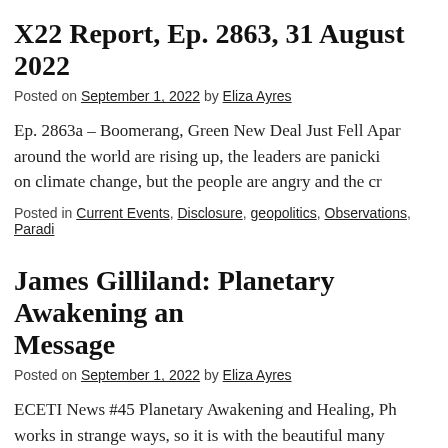X22 Report, Ep. 2863, 31 August 2022
Posted on September 1, 2022 by Eliza Ayres
Ep. 2863a – Boomerang, Green New Deal Just Fell Apar... around the world are rising up, the leaders are panicki... on climate change, but the people are angry and the cr...
Posted in Current Events, Disclosure, geopolitics, Observations, Paradi...
James Gilliland: Planetary Awakening and... Message
Posted on September 1, 2022 by Eliza Ayres
ECETI News #45 Planetary Awakening and Healing, Ph... works in strange ways, so it is with the beautiful many... Spirit. We are often taught there is heaven and hell, Go...
→
Posted in Consciousness, Current Events, Disclosure, Earth History / Civi...